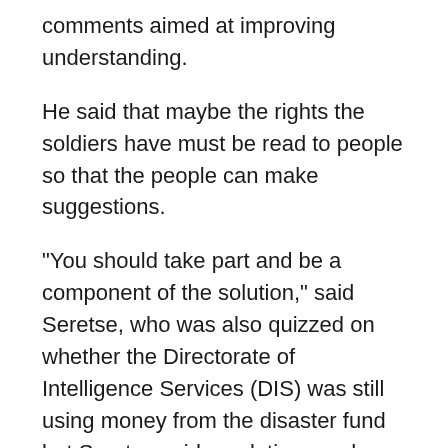comments aimed at improving understanding.
He said that maybe the rights the soldiers have must be read to people so that the people can make suggestions.
“You should take part and be a component of the solution,” said Seretse, who was also quizzed on whether the Directorate of Intelligence Services (DIS) was still using money from the disaster fund but Seretse said resolutions and explanations were made.
“It does not mean it is the case today; it was just for that time,” said Seretse. He also explained that he is aware that the DIS has invited more complaints from the public “but perceptions are different”.
He said that DIS is not a secretive department and it does